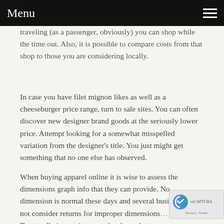Menu
traveling (as a passenger, obviously) you can shop while the time out. Also, it is possible to compare costs from that shop to those you are considering locally.
In case you have filet mignon likes as well as a cheeseburger price range, turn to sale sites. You can often discover new designer brand goods at the seriously lower price. Attempt looking for a somewhat misspelled variation from the designer’s title. You just might get something that no one else has observed.
When buying apparel online it is wise to assess the dimensions graph info that they can provide. No dimension is normal these days and several busine… will not consider returns for improper dimensions… of charge. To actually is certain to get the shape that